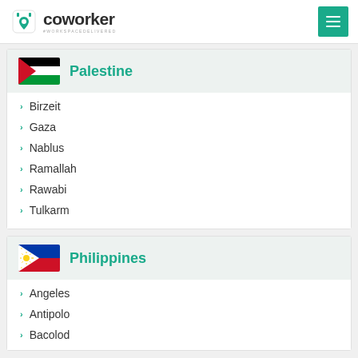coworker #WORKSPACEDELIVERED
Palestine
Birzeit
Gaza
Nablus
Ramallah
Rawabi
Tulkarm
Philippines
Angeles
Antipolo
Bacolod